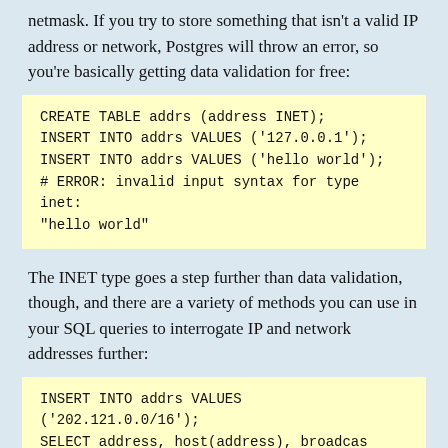netmask. If you try to store something that isn't a valid IP address or network, Postgres will throw an error, so you're basically getting data validation for free:
CREATE TABLE addrs (address INET);
INSERT INTO addrs VALUES ('127.0.0.1');
INSERT INTO addrs VALUES ('hello world');
# ERROR: invalid input syntax for type inet: "hello world"
The INET type goes a step further than data validation, though, and there are a variety of methods you can use in your SQL queries to interrogate IP and network addresses further:
INSERT INTO addrs VALUES ('202.121.0.0/16');
SELECT address, host(address), broadcast(address), netmask(address) FROM addrs;
The result is a bit too wide to suit the newsletter format, but if